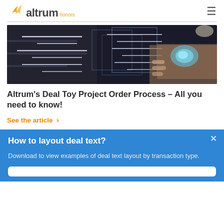altrum honors
[Figure (photo): Abstract technology image showing hands holding a glowing digital device with overlapping transparent panels and light streaks in a dark environment]
Altrum’s Deal Toy Project Order Process – All you need to know!
See the article ›
How to layout deal text?
Download to view examples of deal text layout by transaction type.